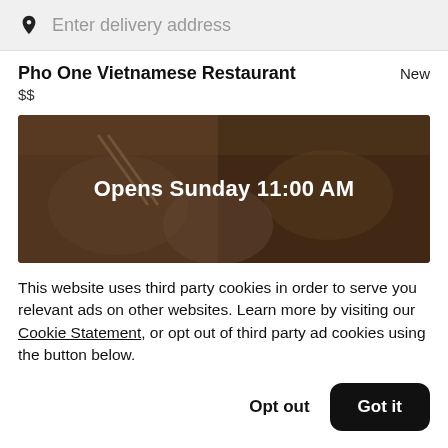Enter delivery address
Pho One Vietnamese Restaurant
$$
[Figure (photo): Food photo showing bowls of Vietnamese dishes with text overlay 'Opens Sunday 11:00 AM']
This website uses third party cookies in order to serve you relevant ads on other websites. Learn more by visiting our Cookie Statement, or opt out of third party ad cookies using the button below.
Opt out  Got it